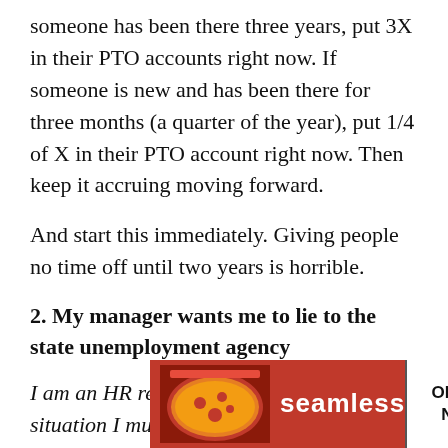someone has been there three years, put 3X in their PTO accounts right now. If someone is new and has been there for three months (a quarter of the year), put 1/4 of X in their PTO account right now. Then keep it accruing moving forward.
And start this immediately. Giving people no time off until two years is horrible.
2. My manager wants me to lie to the state unemployment agency
I am an HR rep and I have a ridiculous situation I must deal with. My manager is asking me to lie about the reason a previous employee was fired, in order to ensure they get unemployment benefits. Long story short, a coworker was fired for repeated poor job performance. This is it of a firing a ely horrible ce on
[Figure (other): Seamless food delivery advertisement banner with pizza image, 'seamless' brand name in red, and 'ORDER NOW' button. Has a 'CLOSE' button overlay.]